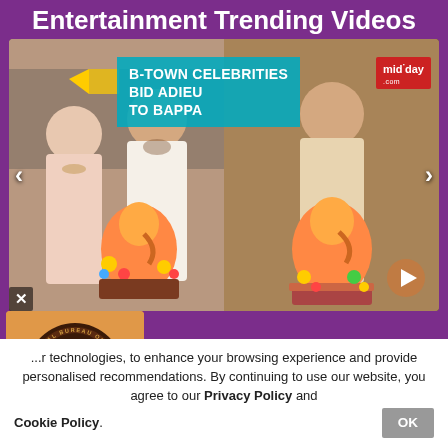Entertainment Trending Videos
[Figure (screenshot): Video carousel showing B-Town celebrities holding Ganesh idols during Ganesh Chaturthi. Left panel shows a couple in pink/white outfits holding a Ganesh murti. Right panel shows a man alone holding a Ganesh murti. Teal overlay text reads 'B-TOWN CELEBRITIES BID ADIEU TO BAPPA'. Mid-day logo badge top right. Left and right navigation arrows. Play button bottom right. Close X bottom left.]
[Figure (screenshot): Thumbnail with orange background showing CBI (Central Bureau of Investigation) India seal/emblem in dark brown. Accompanied by partial headline text '...ina To Maniesh ...s Bid Adieu To...']
...r technologies, to enhance your browsing experience and provide personalised recommendations. By continuing to use our website, you agree to our Privacy Policy and Cookie Policy.